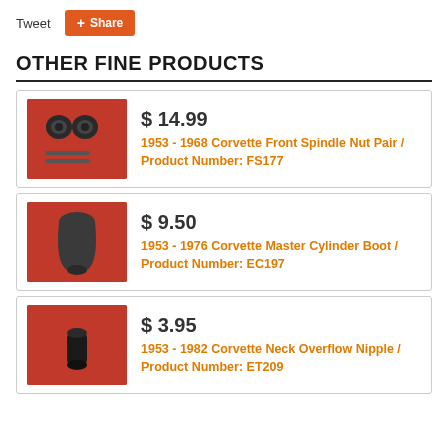Tweet
+ Share
OTHER FINE PRODUCTS
[Figure (photo): Photo of 1953-1968 Corvette Front Spindle Nut Pair on red background]
$ 14.99
1953 - 1968 Corvette Front Spindle Nut Pair / Product Number: FS177
[Figure (photo): Photo of 1953-1976 Corvette Master Cylinder Boot on red background]
$ 9.50
1953 - 1976 Corvette Master Cylinder Boot / Product Number: EC197
[Figure (photo): Photo of 1953-1982 Corvette Neck Overflow Nipple on red background]
$ 3.95
1953 - 1982 Corvette Neck Overflow Nipple / Product Number: ET209